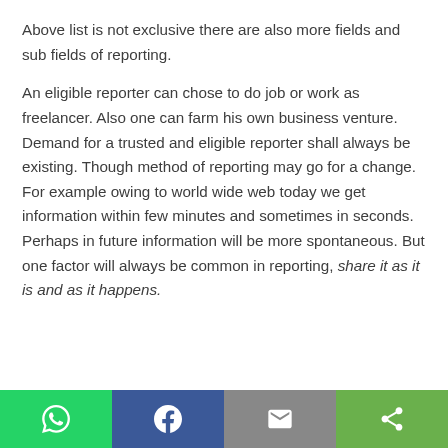Above list is not exclusive there are also more fields and sub fields of reporting.
An eligible reporter can chose to do job or work as freelancer. Also one can farm his own business venture. Demand for a trusted and eligible reporter shall always be existing. Though method of reporting may go for a change. For example owing to world wide web today we get information within few minutes and sometimes in seconds. Perhaps in future information will be more spontaneous. But one factor will always be common in reporting, share it as it is and as it happens.
Social sharing bar with WhatsApp, Facebook, Email, and Share icons